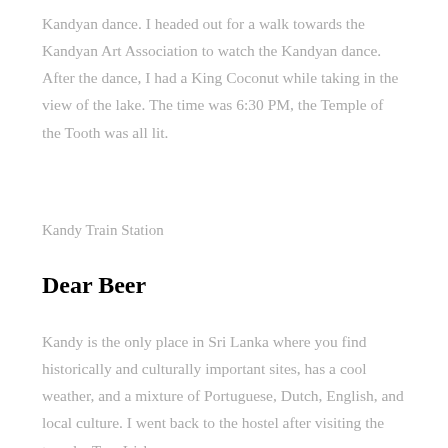Kandyan dance. I headed out for a walk towards the Kandyan Art Association to watch the Kandyan dance. After the dance, I had a King Coconut while taking in the view of the lake. The time was 6:30 PM, the Temple of the Tooth was all lit.
Kandy Train Station
Dear Beer
Kandy is the only place in Sri Lanka where you find historically and culturally important sites, has a cool weather, and a mixture of Portuguese, Dutch, English, and local culture. I went back to the hostel after visiting the temple. Two Irish